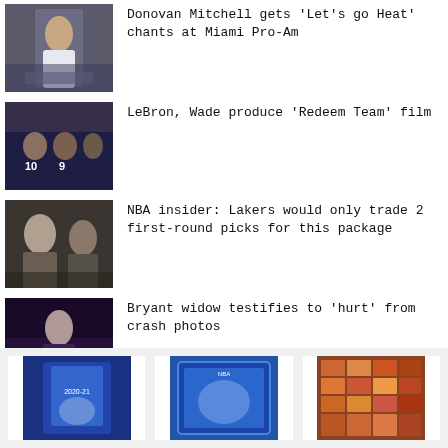[Figure (photo): Basketball player in white uniform on court]
Donovan Mitchell gets 'Let's go Heat' chants at Miami Pro-Am
[Figure (photo): Basketball team huddle, players with numbers 10 and 9]
LeBron, Wade produce 'Redeem Team' film
[Figure (photo): Two coaches or executives in suits, looking serious]
NBA insider: Lakers would only trade 2 first-round picks for this package
[Figure (photo): Woman speaking at podium at a memorial event]
Bryant widow testifies to 'hurt' from crash photos
[Figure (photo): Trading card pack with basketball player]
[Figure (photo): Signed basketball card]
[Figure (photo): Sports card collection or store shelf]